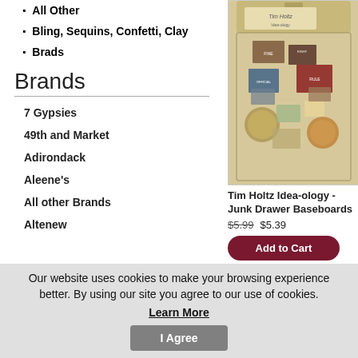All Other
Bling, Sequins, Confetti, Clay
Brads
Brands
7 Gypsies
49th and Market
Adirondack
Aleene's
All other Brands
Altenew
[Figure (photo): Product photo of Tim Holtz Idea-ology Junk Drawer Baseboards in a plastic bag]
Tim Holtz Idea-ology - Junk Drawer Baseboards
$5.99  $5.39
Add to Cart
Our website uses cookies to make your browsing experience better. By using our site you agree to our use of cookies.
Learn More
I Agree